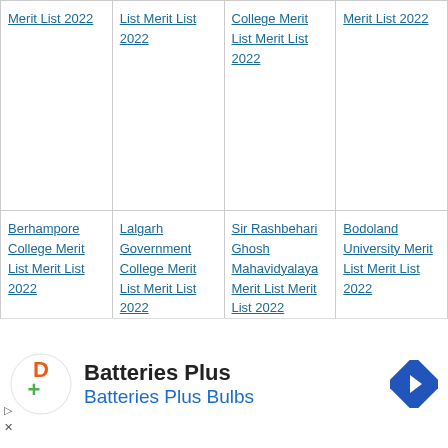| Col1 | Col2 | Col3 | Col4 |
| --- | --- | --- | --- |
| [truncated top] Merit List 2022 | List Merit List 2022 | [truncated] College Merit List Merit List 2022 | Merit List 2022 |
| Berhampore College Merit List Merit List 2022 | Lalgarh Government College Merit List Merit List 2022 | Sir Rashbehari Ghosh Mahavidyalaya Merit List Merit List 2022 | Bodoland University Merit List Merit List 2022 |
| Belda College Merit List... | Lalbagh Scbc College Merit... | Sir Gurudas Mahavidyala Merit List... | Birbhum Mahavidyal aya Merit... |
[Figure (infographic): Batteries Plus advertisement banner with logo and navigation arrow icon]